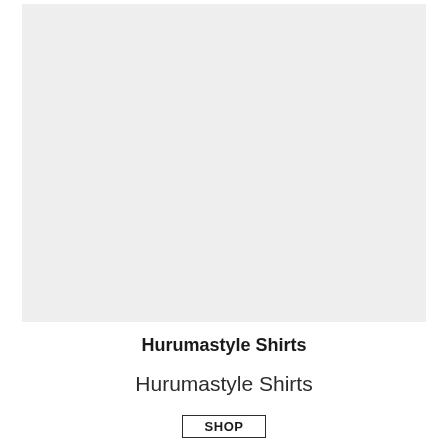[Figure (photo): Large light gray rectangular placeholder image for product photo of Hurumastyle Shirts]
Hurumastyle Shirts
Hurumastyle Shirts
SHOP